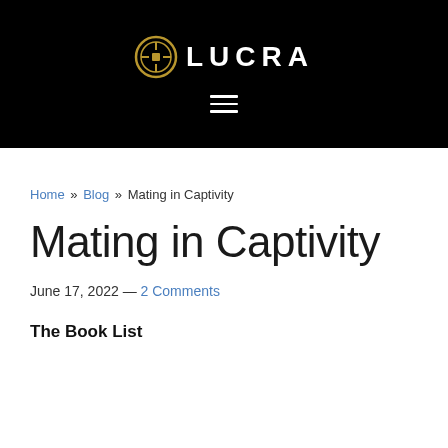[Figure (logo): LUCRA logo with golden circular coin icon and white text on black background, plus hamburger menu icon below]
Home » Blog » Mating in Captivity
Mating in Captivity
June 17, 2022 — 2 Comments
The Book List